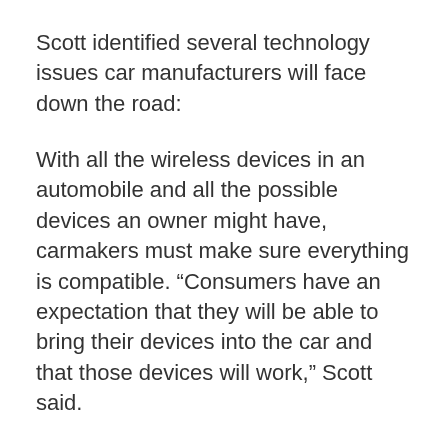Scott identified several technology issues car manufacturers will face down the road:
With all the wireless devices in an automobile and all the possible devices an owner might have, carmakers must make sure everything is compatible. “Consumers have an expectation that they will be able to bring their devices into the car and that those devices will work,” Scott said.
Because most automobiles will have a Global Positioning System onboard, auto insurance rates might be based on how a person really drives, as opposed to the theoretical scoring systems now used.
Cars will also be more self-diagnostic. It will be common for someone from a control center, such as